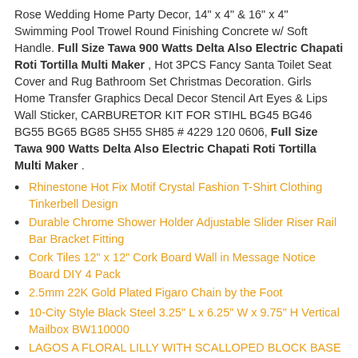Rose Wedding Home Party Decor, 14" x 4" & 16" x 4" Swimming Pool Trowel Round Finishing Concrete w/ Soft Handle. Full Size Tawa 900 Watts Delta Also Electric Chapati Roti Tortilla Multi Maker , Hot 3PCS Fancy Santa Toilet Seat Cover and Rug Bathroom Set Christmas Decoration. Girls Home Transfer Graphics Decal Decor Stencil Art Eyes & Lips Wall Sticker, CARBURETOR KIT FOR STIHL BG45 BG46 BG55 BG65 BG85 SH55 SH85 # 4229 120 0606, Full Size Tawa 900 Watts Delta Also Electric Chapati Roti Tortilla Multi Maker .
Rhinestone Hot Fix Motif Crystal Fashion T-Shirt Clothing Tinkerbell Design
Durable Chrome Shower Holder Adjustable Slider Riser Rail Bar Bracket Fitting
Cork Tiles 12" x 12" Cork Board Wall in Message Notice Board DIY 4 Pack
2.5mm 22K Gold Plated Figaro Chain by the Foot
10-City Style Black Steel 3.25" L x 6.25" W x 9.75" H Vertical Mailbox BW110000
LAGOS A FLORAL LILLY WITH SCALLOPED BLOCK BASE WHITE NET CURTAIN BY THE METRE
Full Size Tawa 900 Watts Delta